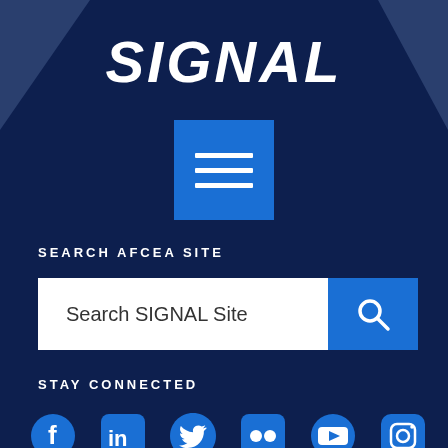SIGNAL
[Figure (other): Hamburger menu button - blue square with three white horizontal lines]
SEARCH AFCEA SITE
[Figure (other): Search bar with placeholder text 'Search SIGNAL Site' and blue search button with magnifying glass icon]
STAY CONNECTED
[Figure (other): Social media icons row: Facebook, LinkedIn, Twitter, Flickr, YouTube, Instagram - all in blue]